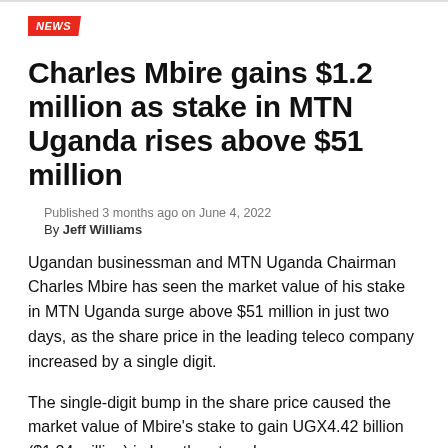NEWS
Charles Mbire gains $1.2 million as stake in MTN Uganda rises above $51 million
Published 3 months ago on June 4, 2022
By Jeff Williams
Ugandan businessman and MTN Uganda Chairman Charles Mbire has seen the market value of his stake in MTN Uganda surge above $51 million in just two days, as the share price in the leading teleco company increased by a single digit.
The single-digit bump in the share price caused the market value of Mbire's stake to gain UGX4.42 billion ($1.24 million) in less than two days.